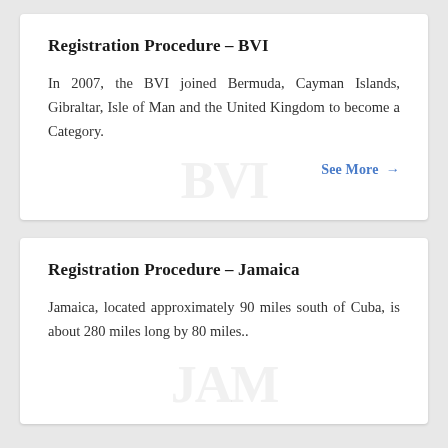Registration Procedure – BVI
In 2007, the BVI joined Bermuda, Cayman Islands, Gibraltar, Isle of Man and the United Kingdom to become a Category.
See More →
Registration Procedure – Jamaica
Jamaica, located approximately 90 miles south of Cuba, is about 280 miles long by 80 miles..